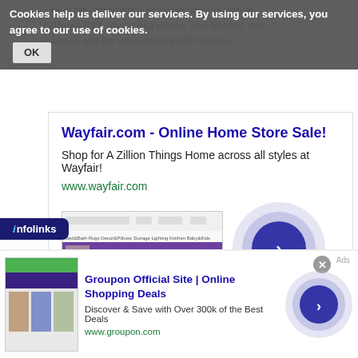This is the first Morning Musume single to feature Ishikawa Rika, Yoshizawa Hitomi, Tsuji Nozomi, and Kago Ai, and the last to feature Ichii Sayaka.
Cookies help us deliver our services. By using our services, you agree to our use of cookies. OK
Wayfair.com - Online Home Store Sale!
Shop for A Zillion Things Home across all styles at Wayfair!
www.wayfair.com
[Figure (screenshot): Wayfair website screenshot showing bedroom sets ad]
[Figure (other): Blue concentric circles with right arrow navigation button]
infolinks
Groupon Official Site | Online Shopping Deals
Discover & Save with Over 300k of the Best Deals
www.groupon.com
[Figure (screenshot): Groupon website screenshot with lifestyle photos]
[Figure (other): Blue concentric circles with right arrow navigation button (smaller)]